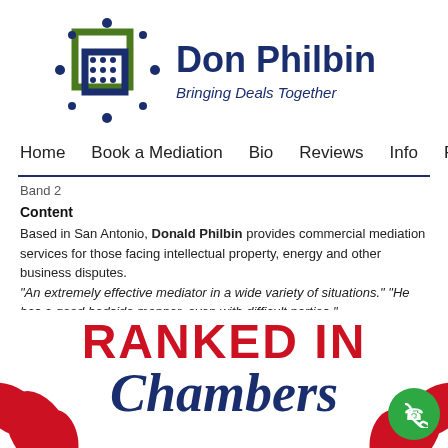[Figure (logo): Don Philbin logo with overlapping square grid icon in green and dark blue, dots around corners]
Don Philbin
Bringing Deals Together
Home   Book a Mediation   Bio   Reviews   Info   Publ
Band 2
Content
Based in San Antonio, Donald Philbin provides commercial mediation services for those facing intellectual property, energy and other business disputes. "An extremely effective mediator in a wide variety of situations." "He has a good bedside manner, even with difficult parties."
[Figure (logo): Chambers RANKED IN banner with red leaf decorations and Chambers text in dark blue italic]